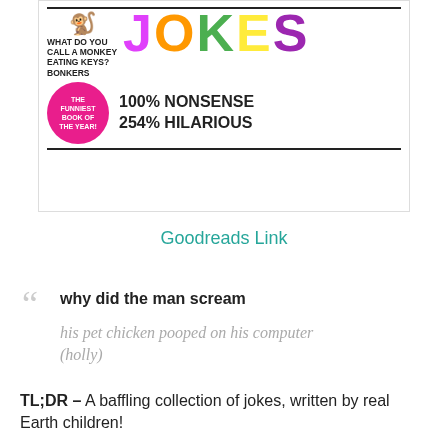[Figure (illustration): Book cover for a joke book titled JOKES — 100% Nonsense, 254% Hilarious. Features colorful block letters spelling JOKES, a small monkey icon, text reading 'What do you call a monkey eating keys? Bonkers', a pink circular badge saying 'The Funniest Book of the Year!', and subtitle '100% Nonsense 254% Hilarious'.]
Goodreads Link
why did the man scream
his pet chicken pooped on his computer (holly)
TL;DR – A baffling collection of jokes, written by real Earth children!